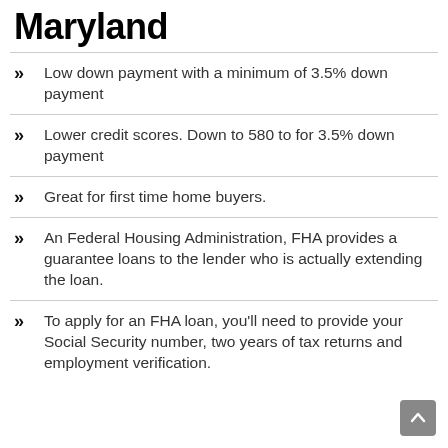Maryland
Low down payment with a minimum of 3.5% down payment
Lower credit scores. Down to 580 to for 3.5% down payment
Great for first time home buyers.
An Federal Housing Administration, FHA provides a guarantee loans to the lender who is actually extending the loan.
To apply for an FHA loan, you'll need to provide your Social Security number, two years of tax returns and employment verification.